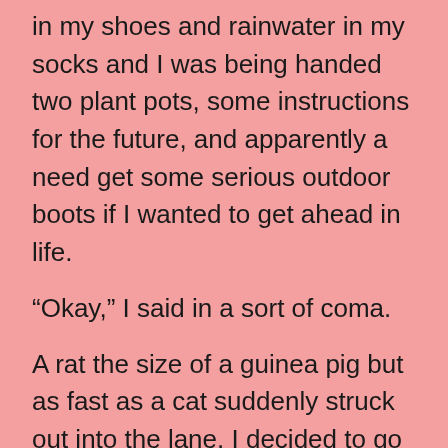in my shoes and rainwater in my socks and I was being handed two plant pots, some instructions for the future, and apparently a need get some serious outdoor boots if I wanted to get ahead in life.
“Okay,” I said in a sort of coma.
A rat the size of a guinea pig but as fast as a cat suddenly struck out into the lane. I decided to go home.
“Don’t forget your pots,” said Alan.
I did not forget my pots.